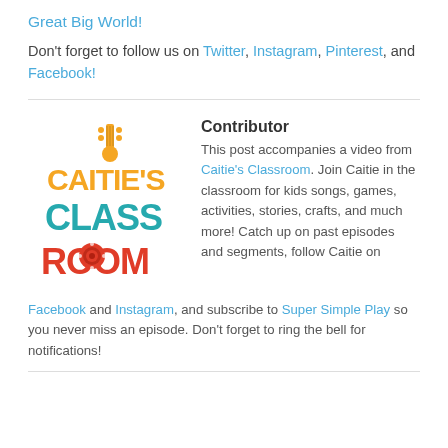Great Big World!
Don't forget to follow us on Twitter, Instagram, Pinterest, and Facebook!
Contributor
[Figure (logo): Caitie's Classroom logo with guitar icon, colorful block letters spelling CAITIE'S CLASS ROOM in yellow, teal, and red]
This post accompanies a video from Caitie's Classroom. Join Caitie in the classroom for kids songs, games, activities, stories, crafts, and much more! Catch up on past episodes and segments, follow Caitie on Facebook and Instagram, and subscribe to Super Simple Play so you never miss an episode. Don't forget to ring the bell for notifications!